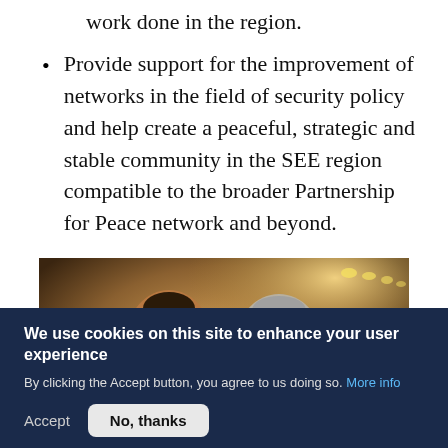work done in the region.
Provide support for the improvement of networks in the field of security policy and help create a peaceful, strategic and stable community in the SEE region compatible to the broader Partnership for Peace network and beyond.
[Figure (photo): Two men standing together in a warmly lit corridor or reception area. The man on the left is younger with dark hair wearing a dark suit. The man on the right is older with grey hair wearing glasses and a light grey jacket.]
We use cookies on this site to enhance your user experience
By clicking the Accept button, you agree to us doing so. More info
Accept   No, thanks